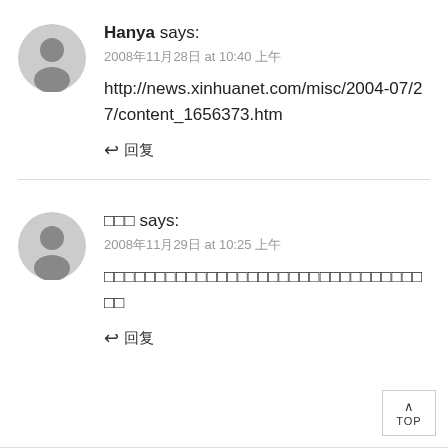Hanya says:
2008年11月28日 at 10:40 上午
http://news.xinhuanet.com/misc/2004-07/27/content_1656373.htm
↩ 回复
□□□ says:
2008年11月29日 at 10:25 上午
□□□□□□□□□□□□□□□□□□□□□□□□□□□□□□□□□
↩ 回复